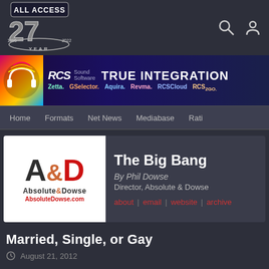[Figure (logo): All Access 27 Year logo (1995-2022) in silver/chrome style]
[Figure (logo): RCS Sound Software - True Integration banner ad with products: Zetta, GSelector, Aquira, Revma, RCSCloud, RCS2GO]
Home | Formats | Net News | Mediabase | Rati
[Figure (logo): Absolute & Dowse logo - A&D with AbsoluteDowse.com]
The Big Bang
By Phil Dowse
Director, Absolute & Dowse
about | email | website | archive
Married, Single, or Gay
August 21, 2012